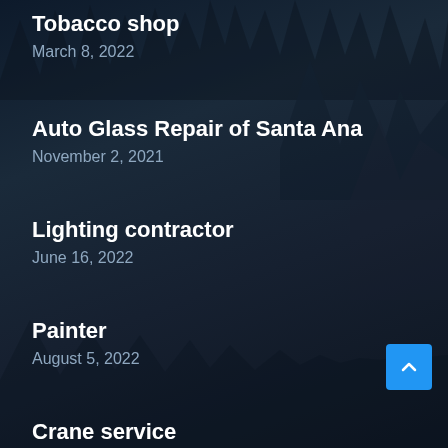Tobacco shop
March 8, 2022
Auto Glass Repair of Santa Ana
November 2, 2021
Lighting contractor
June 16, 2022
Painter
August 5, 2022
Crane service
February 11, 2022
Palmpoolsandspas
February 2, 2022